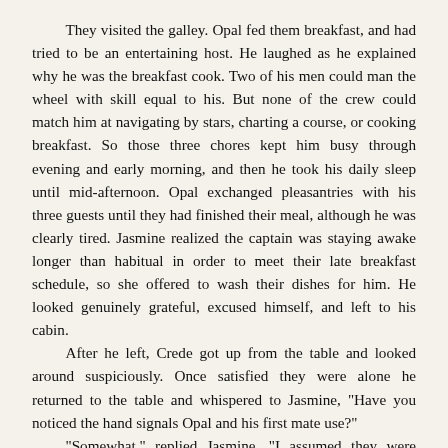They visited the galley. Opal fed them breakfast, and had tried to be an entertaining host. He laughed as he explained why he was the breakfast cook. Two of his men could man the wheel with skill equal to his. But none of the crew could match him at navigating by stars, charting a course, or cooking breakfast. So those three chores kept him busy through evening and early morning, and then he took his daily sleep until mid-afternoon. Opal exchanged pleasantries with his three guests until they had finished their meal, although he was clearly tired. Jasmine realized the captain was staying awake longer than habitual in order to meet their late breakfast schedule, so she offered to wash their dishes for him. He looked genuinely grateful, excused himself, and left to his cabin.
After he left, Crede got up from the table and looked around suspiciously. Once satisfied they were alone he returned to the table and whispered to Jasmine, "Have you noticed the hand signals Opal and his first mate use?"
"Somewhat," replied Jasmine, "I assumed they were signals for ship things, like what to do with ropes and sails."
"They signal each other about...